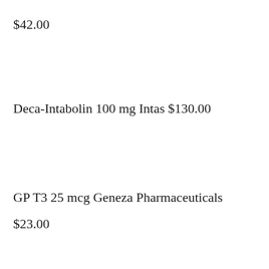$42.00
Deca-Intabolin 100 mg Intas $130.00
GP T3 25 mcg Geneza Pharmaceuticals
$23.00